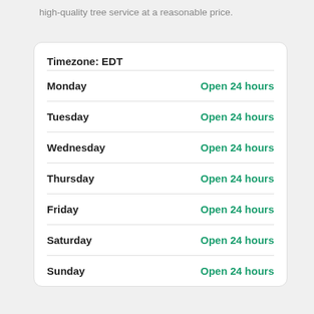high-quality tree service at a reasonable price.
| Day | Hours |
| --- | --- |
| Monday | Open 24 hours |
| Tuesday | Open 24 hours |
| Wednesday | Open 24 hours |
| Thursday | Open 24 hours |
| Friday | Open 24 hours |
| Saturday | Open 24 hours |
| Sunday | Open 24 hours |